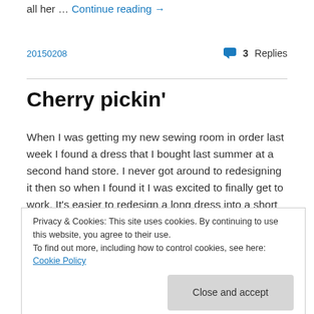all her … Continue reading →
20150208   💬 3 Replies
Cherry pickin'
When I was getting my new sewing room in order last week I found a dress that I bought last summer at a second hand store. I never got around to redesigning it then so when I found it I was excited to finally get to work. It's easier to redesign a long dress into a short one since
Privacy & Cookies: This site uses cookies. By continuing to use this website, you agree to their use.
To find out more, including how to control cookies, see here: Cookie Policy
Close and accept
It took a little time… to get to